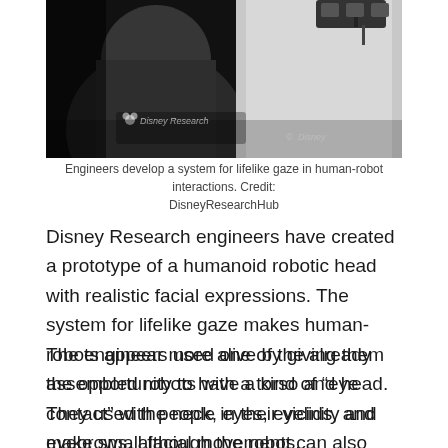[Figure (photo): Black and white photo showing a humanoid robotic head/torso with a depth camera mounted on chest area. Disney Research and Disney copyright watermarks visible.]
Engineers develop a system for lifelike gaze in human-robot interactions. Credit: DisneyResearchHub
Disney Research engineers have created a prototype of a humanoid robotic head with realistic facial expressions. The system for lifelike gaze makes human-robots appear more alive by giving them the opportunity to have a kind of “eye contact” with people in their vicinity and make small facial movements.
The engineers used one of the already assembled robots with a torso and head. They used the neck, eyes, eyelids, and eyebrows, although the robot can also move its lips and jaw. Besides, they equipped the robot with a depth camera on its chest so that it could see the people in front of it and